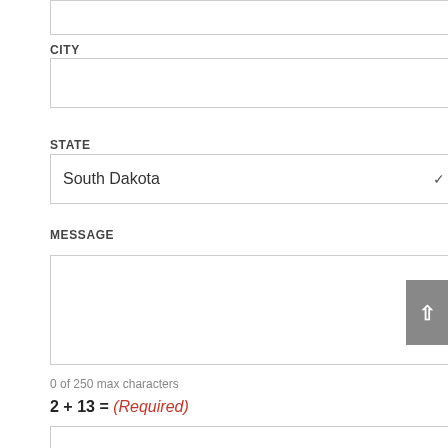[Figure (screenshot): Partial form input field at top of page (cropped)]
CITY
[Figure (screenshot): Empty text input field for City]
STATE
[Figure (screenshot): Dropdown select field showing 'South Dakota' with chevron arrow]
MESSAGE
[Figure (screenshot): Large textarea input for message]
0 of 250 max characters
2 + 13 = (Required)
[Figure (screenshot): Empty text input field for math answer]